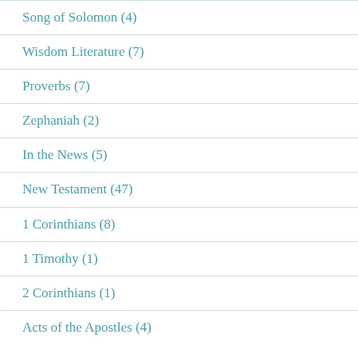Song of Solomon (4)
Wisdom Literature (7)
Proverbs (7)
Zephaniah (2)
In the News (5)
New Testament (47)
1 Corinthians (8)
1 Timothy (1)
2 Corinthians (1)
Acts of the Apostles (4)